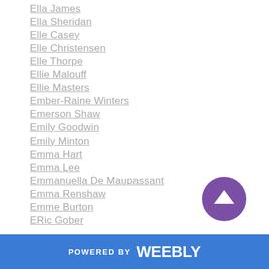Ella James
Ella Sheridan
Elle Casey
Elle Christensen
Elle Thorpe
Ellie Malouff
Ellie Masters
Ember-Raine Winters
Emerson Shaw
Emily Goodwin
Emily Minton
Emma Hart
Emma Lee
Emmanuella De Maupassant
Emma Renshaw
Emme Burton
ERic Gober
POWERED BY weebly